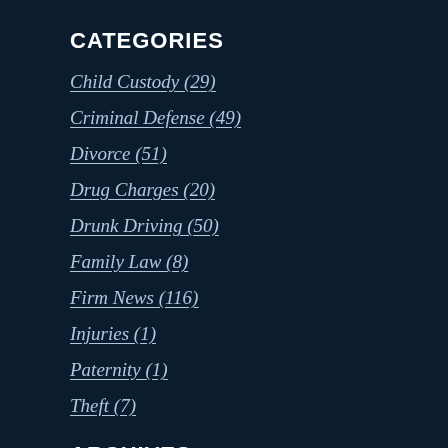CATEGORIES
Child Custody (29)
Criminal Defense (49)
Divorce (51)
Drug Charges (20)
Drunk Driving (50)
Family Law (8)
Firm News (116)
Injuries (1)
Paternity (1)
Theft (7)
ARCHIVES